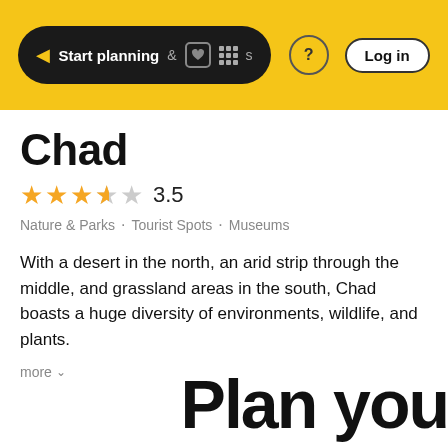Start planning  &  Activities  ?  Log in
Chad
3.5
Nature & Parks · Tourist Spots · Museums
With a desert in the north, an arid strip through the middle, and grassland areas in the south, Chad boasts a huge diversity of environments, wildlife, and plants.
more
Plan you